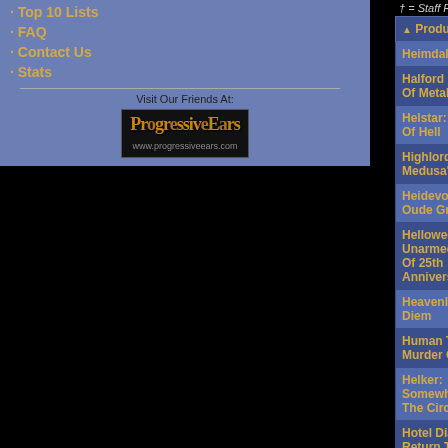Top 10 Lists
FAQ
Contact Us
Stats
Visit Our Friends At:
[Figure (logo): ProgressiveEars logo with www.progressiveears.com URL]
† = Staff Roundtable Review / ‡
| Product Title | Re |
| --- | --- |
| Heimdall: Aeneid | Scot |
| Halford IV: Made Of Metal | Scot |
| Helstar: The King Of Hell | Scot |
| Highlord: Medusa's Coil | Scot |
| Heidevolk: Uit Oude Grond | Scot |
| Helloween: Unarmed - Best Of 25th Anniversary  † | Scot |
| Heavenly: Carpe Diem | Scot |
| Human Temple: Murder Of Crows | Scot |
| Helker: Somewhere In The Circle | Scot |
| Hotel Diablo: The Return To Psycho, California | Scot |
| Helstar: 30 Years of Hel | Scot |
| Hemina: Venus | Scot |
| Helloween: Straight Out Of Hell | Scot |